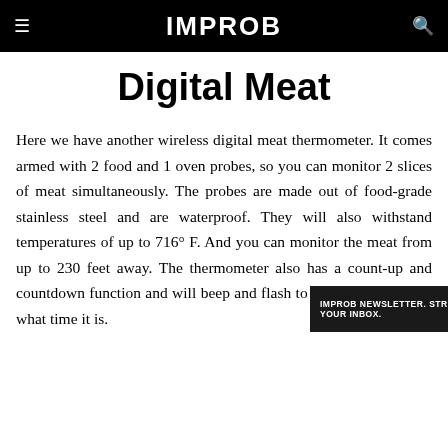IMPROB
Digital Meat
Here we have another wireless digital meat thermometer. It comes armed with 2 food and 1 oven probes, so you can monitor 2 slices of meat simultaneously. The probes are made out of food-grade stainless steel and are waterproof. They will also withstand temperatures of up to 716° F. And you can monitor the meat from up to 230 feet away. The thermometer also has a count-up and countdown function and will beep and flash to make you aware of what time it is.
[Figure (other): IMPROB newsletter subscription banner with dark background, text 'IMPROB NEWSLETTER. STRAIGHT TO YOUR INBOX.' and a teal SUBSCRIBE button]